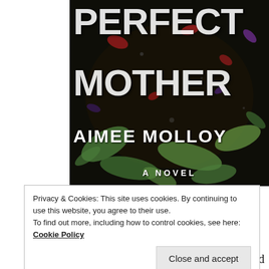[Figure (illustration): Book cover for 'Perfect Mother' by Aimee Molloy, A Novel. Dark background with scattered flower petals and debris, white bold title text.]
Privacy & Cookies: This site uses cookies. By continuing to use this website, you agree to their use.
To find out more, including how to control cookies, see here:
Cookie Policy
Close and accept
Now I am jaded and sageful. Now I can smile and